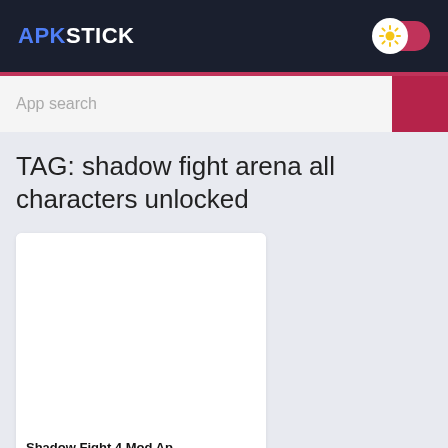APKSTICK
App search
TAG: shadow fight arena all characters unlocked
Shadow Fight 4 Mod Ap...